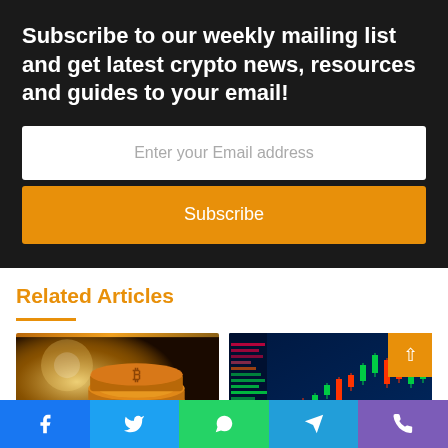Subscribe to our weekly mailing list and get latest crypto news, resources and guides to your email!
Enter your Email address
Subscribe
Related Articles
[Figure (photo): Stack of gold Bitcoin coins with warm glowing light background]
[Figure (photo): Cryptocurrency trading candlestick chart on blue background with Bitcoin coin]
Social share bar with Facebook, Twitter, WhatsApp, Telegram, Phone icons